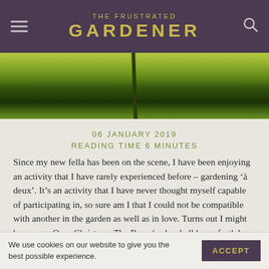THE FRUSTRATED GARDENER
[Figure (photo): Close-up photo of a green plant stem against a blurred green background]
06 JANUARY 2019
READING TIME 6 MINUTES
Since my new fella has been on the scene, I have been enjoying an activity that I have rarely experienced before – gardening 'à deux'. It's an activity that I have never thought myself capable of participating in, so sure am I that I could not be compatible with another in the garden as well as in love. Turns out I might be wrong. Over Christmas The Beau (as he shall henceforth be known) and I have been scrambling to plant all the bulbs that I had neglected to tackle during the four months previous. To my shame he reckons there were at least 1000 of them, mainly
We use cookies on our website to give you the best possible experience.